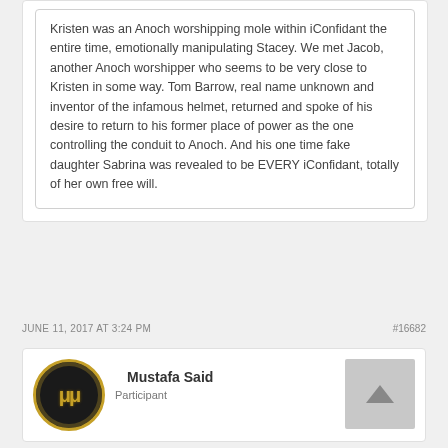Kristen was an Anoch worshipping mole within iConfidant the entire time, emotionally manipulating Stacey. We met Jacob, another Anoch worshipper who seems to be very close to Kristen in some way. Tom Barrow, real name unknown and inventor of the infamous helmet, returned and spoke of his desire to return to his former place of power as the one controlling the conduit to Anoch. And his one time fake daughter Sabrina was revealed to be EVERY iConfidant, totally of her own free will.
JUNE 11, 2017 AT 3:24 PM
#16682
[Figure (illustration): Circular avatar with black background, gold border, and Greek mu (μμ) symbol in gold]
Mustafa Said
Participant